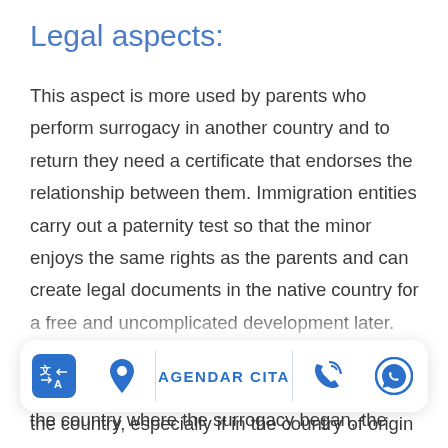Legal aspects:
This aspect is more used by parents who perform surrogacy in another country and to return they need a certificate that endorses the relationship between them. Immigration entities carry out a paternity test so that the minor enjoys the same rights as the parents and can create legal documents in the native country for a free and uncomplicated development later.
In general, the DNA collection is carried out in the country where the surrogacy began, the
[Figure (infographic): Bottom navigation toolbar with translate icon, location pin icon, AGENDAR CITA button text, phone call icon, and WhatsApp icon]
the country, especially if in the country of origin